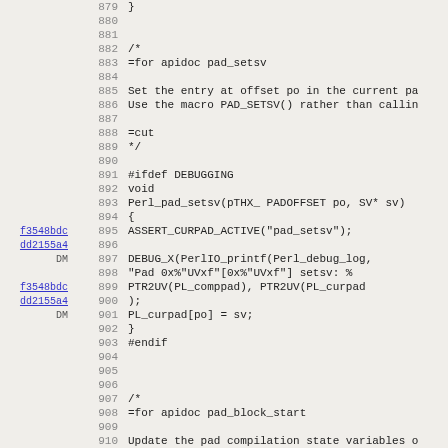Source code viewer showing lines 879-910 of a Perl C source file (pad.c), with git blame annotations and line numbers. Contains documentation comments (/* =for apidoc pad_setsv ... =cut */), C preprocessor directives (#ifdef DEBUGGING, #endif), and C function definition Perl_pad_setsv with DEBUG_X macro call. Followed by another documentation block for pad_block_start.